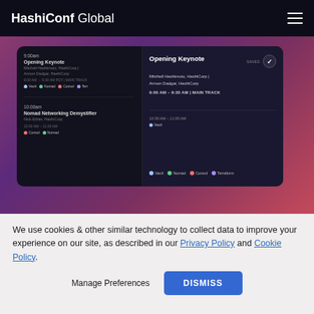HashiConf Global
[Figure (screenshot): Screenshot of HashiConf Global website showing a session schedule with Opening Keynote and Nomad Networking Demystifier sessions, with a detail panel showing Opening Keynote details: Mitchell Hashimoto, HashiCorp | Armon Dadgar, HashiCorp, 9:00 AM – 9:30 AM | MAIN TRACK. Tags: Vault, Nomad, Consul, Terraform. Purple/pink gradient background.]
We use cookies & other similar technology to collect data to improve your experience on our site, as described in our Privacy Policy and Cookie Policy.
Manage Preferences
DISMISS